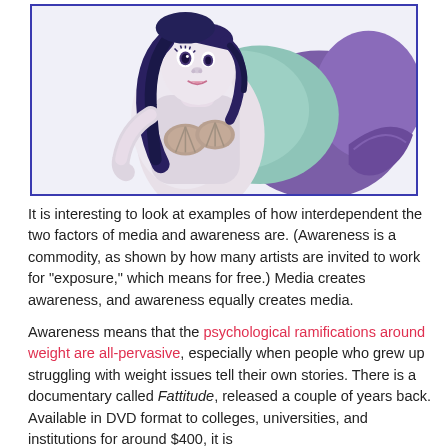[Figure (illustration): Illustration of a mermaid character with dark hair, pale skin, a teal/mint fish tail, wearing shell accessories, set against a purple background. The image is framed with a blue border.]
It is interesting to look at examples of how interdependent the two factors of media and awareness are. (Awareness is a commodity, as shown by how many artists are invited to work for “exposure,” which means for free.) Media creates awareness, and awareness equally creates media.
Awareness means that the psychological ramifications around weight are all-pervasive, especially when people who grew up struggling with weight issues tell their own stories. There is a documentary called Fattitude, released a couple of years back. Available in DVD format to colleges, universities, and institutions for around $400, it is